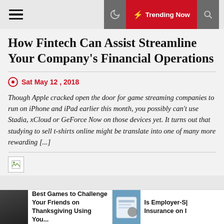Trending Now
How Fintech Can Assist Streamline Your Company's Financial Operations
Sat May 12 , 2018
Though Apple cracked open the door for game streaming companies to run on iPhone and iPad earlier this month, you possibly can't use Stadia, xCloud or GeForce Now on those devices yet. It turns out that studying to sell t-shirts online might be translate into one of many more rewarding [...]
[Figure (other): Small broken image placeholder thumbnail]
Best Games to Challenge Your Friends on Thanksgiving Using You...
Is Employer-S| Insurance on I